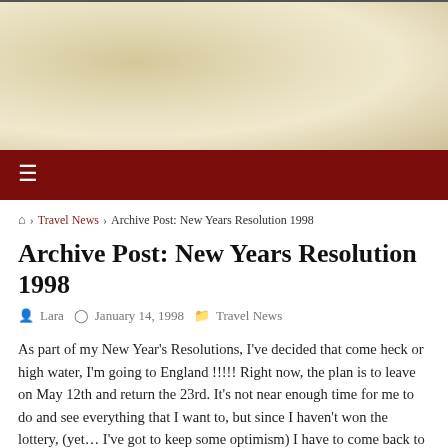[Figure (illustration): Decorative parchment/beige textured banner header area with dark top border line]
≡
🏠 › Travel News › Archive Post: New Years Resolution 1998
Archive Post: New Years Resolution 1998
Lara   January 14, 1998   Travel News
As part of my New Year's Resolutions, I've decided that come heck or high water, I'm going to England !!!!! Right now, the plan is to leave on May 12th and return the 23rd. It's not near enough time for me to do and see everything that I want to, but since I haven't won the lottery, (yet… I've got to keep some optimism) I have to come back to Texas and work for a living! I plan on making the rounds of museums and of course the Tudor must-sees. Hopefully I'll be able to replace a lot of the photos of castles and monuments with my own, and therefore completely avoid any possible copyright violations. : )